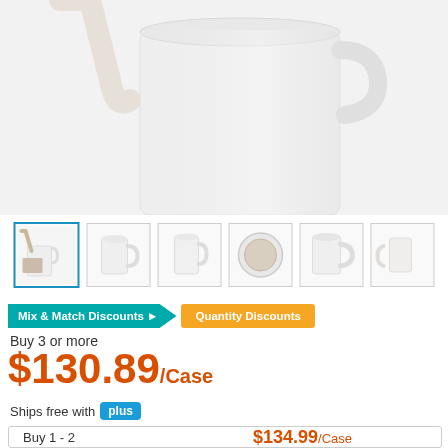[Figure (photo): Close-up photo of a white ceramic coffee mug with a handle, being poured into from above, on a white background. Thumbnail row shows 6 views of the same mug.]
Mix & Match Discounts ▶
Quantity Discounts
Buy 3 or more
$130.89/Case
Ships free with plus
|  |  |
| --- | --- |
| Buy 1 - 2 | $134.99/Case |